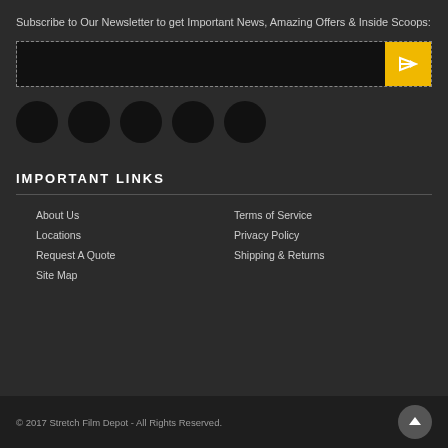Subscribe to Our Newsletter to get Important News, Amazing Offers & Inside Scoops:
[Figure (other): Email newsletter subscription form with black input field and yellow arrow button]
[Figure (other): Row of five dark circular social media icon buttons]
IMPORTANT LINKS
About Us
Terms of Service
Locations
Privacy Policy
Request A Quote
Shipping & Returns
Site Map
© 2017 Stretch Film Depot - All Rights Reserved.